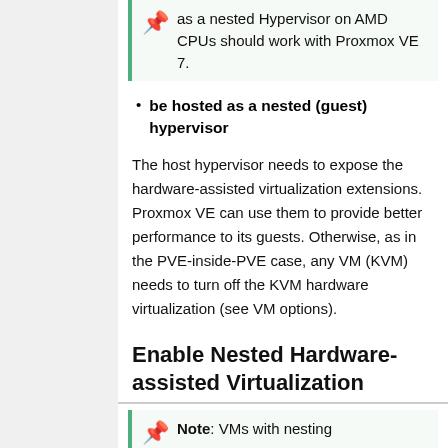as a nested Hypervisor on AMD CPUs should work with Proxmox VE 7.
be hosted as a nested (guest) hypervisor
The host hypervisor needs to expose the hardware-assisted virtualization extensions. Proxmox VE can use them to provide better performance to its guests. Otherwise, as in the PVE-inside-PVE case, any VM (KVM) needs to turn off the KVM hardware virtualization (see VM options).
Enable Nested Hardware-assisted Virtualization
Note: VMs with nesting